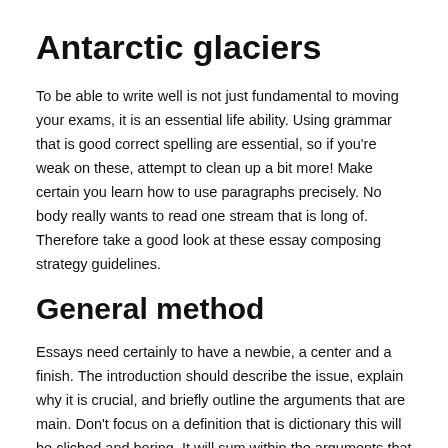Antarctic glaciers
To be able to write well is not just fundamental to moving your exams, it is an essential life ability. Using grammar that is good correct spelling are essential, so if you're weak on these, attempt to clean up a bit more! Make certain you learn how to use paragraphs precisely. No body really wants to read one stream that is long of. Therefore take a good look at these essay composing strategy guidelines.
General method
Essays need certainly to have a newbie, a center and a finish. The introduction should describe the issue, explain why it is crucial, and briefly outline the arguments that are main. Don't focus on a definition that is dictionary this will be cliched and boring. It will sum within the arguments that are main the middle and complete with a conclusions that